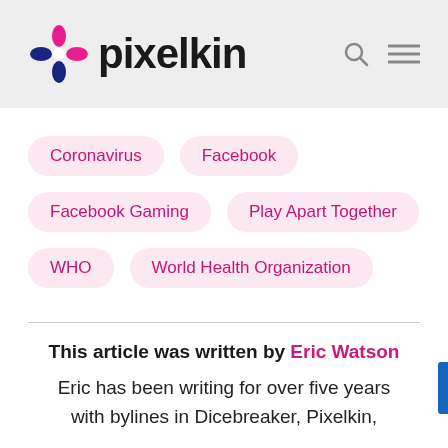pixelkin
Coronavirus
Facebook
Facebook Gaming
Play Apart Together
WHO
World Health Organization
This article was written by Eric Watson
Eric has been writing for over five years with bylines in Dicebreaker, Pixelkin,